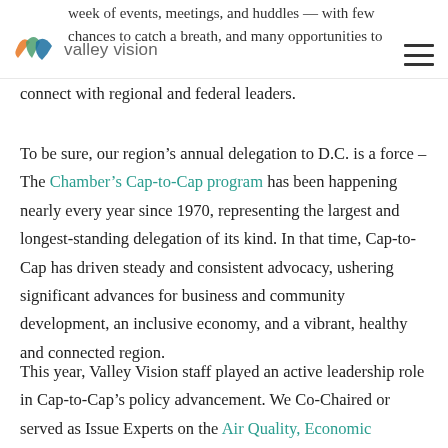week of events, meetings, and huddles — with few chances to catch a breath, and many opportunities to connect with regional and federal leaders.
To be sure, our region's annual delegation to D.C. is a force – The Chamber's Cap-to-Cap program has been happening nearly every year since 1970, representing the largest and longest-standing delegation of its kind. In that time, Cap-to-Cap has driven steady and consistent advocacy, ushering significant advances for business and community development, an inclusive economy, and a vibrant, healthy and connected region.
This year, Valley Vision staff played an active leadership role in Cap-to-Cap's policy advancement. We Co-Chaired or served as Issue Experts on the Air Quality, Economic Development, and Food and...